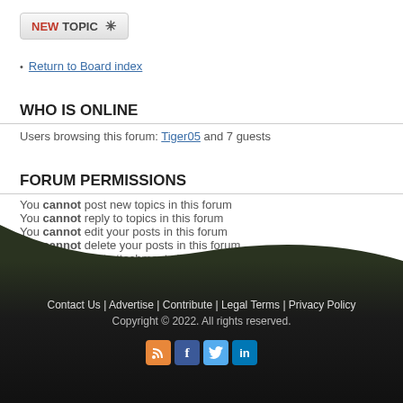NEW TOPIC *
Return to Board index
WHO IS ONLINE
Users browsing this forum: Tiger05 and 7 guests
FORUM PERMISSIONS
You cannot post new topics in this forum
You cannot reply to topics in this forum
You cannot edit your posts in this forum
You cannot delete your posts in this forum
You cannot post attachments in this forum
Contact Us | Advertise | Contribute | Legal Terms | Privacy Policy
Copyright © 2022. All rights reserved.